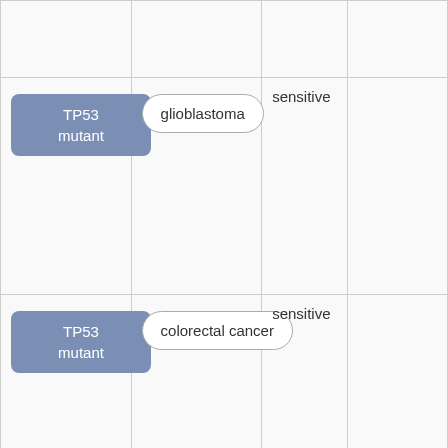|  |  |  |  |
| TP53 mutant | glioblastoma | sensitive |  |
| TP53 mutant | colorectal cancer | sensitive |  |